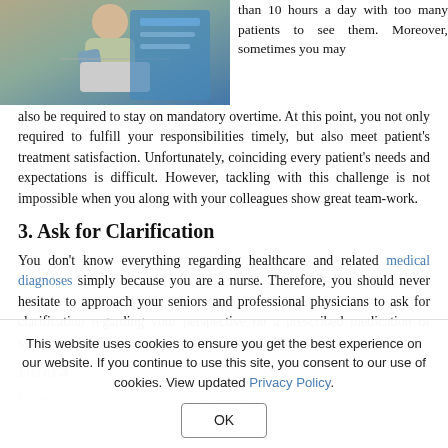[Figure (photo): A nurse or medical professional in scrubs writing or filling out paperwork at a desk or medical station.]
than 10 hours a day with too many patients to see them. Moreover, sometimes you may also be required to stay on mandatory overtime. At this point, you not only required to fulfill your responsibilities timely, but also meet patient's treatment satisfaction. Unfortunately, coinciding every patient's needs and expectations is difficult. However, tackling with this challenge is not impossible when you along with your colleagues show great team-work.
3. Ask for Clarification
You don't know everything regarding healthcare and related medical diagnoses simply because you are a nurse. Therefore, you should never hesitate to approach your seniors and professional physicians to ask for clarification regarding your perspective on a prescribed medication or symptom, just because you are a nursing practitioner and not a healthcare
Intera
Experiencedilives and excellence: always and ror...
This website uses cookies to ensure you get the best experience on our website. If you continue to use this site, you consent to our use of cookies. View updated Privacy Policy.